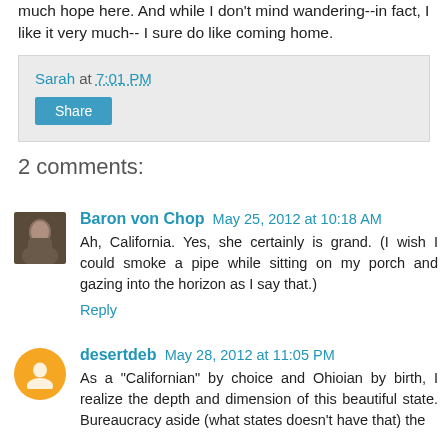much hope here. And while I don't mind wandering--in fact, I like it very much-- I sure do like coming home.
Sarah at 7:01 PM
Share
2 comments:
Baron von Chop May 25, 2012 at 10:18 AM
Ah, California. Yes, she certainly is grand. (I wish I could smoke a pipe while sitting on my porch and gazing into the horizon as I say that.)
Reply
desertdeb May 28, 2012 at 11:05 PM
As a "Californian" by choice and Ohioian by birth, I realize the depth and dimension of this beautiful state. Bureaucracy aside (what states doesn't have that) the